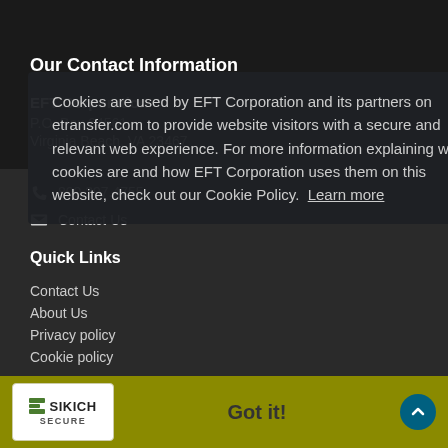Our Contact Information
EFT Corporation
P.O. Box 64561
Virginia Beach, VA 23467
800.397.4755
Contact Us
Quick Links
Contact Us
About Us
Privacy policy
Cookie policy
Cookies are used by EFT Corporation and its partners on etransfer.com to provide website visitors with a secure and relevant web experience. For more information explaining what cookies are and how EFT Corporation uses them on this website, check out our Cookie Policy.  Learn more
Got it!